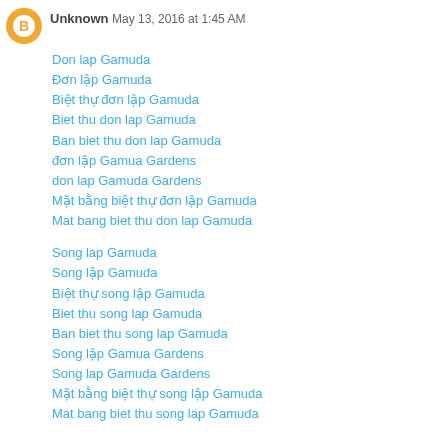Unknown  May 13, 2016 at 1:45 AM
Don lap Gamuda
Đơn lập Gamuda
Biệt thự đơn lập Gamuda
Biet thu don lap Gamuda
Ban biet thu don lap Gamuda
đơn lập Gamua Gardens
don lap Gamuda Gardens
Mặt bằng biệt thự đơn lập Gamuda
Mat bang biet thu don lap Gamuda
Song lap Gamuda
Song lập Gamuda
Biệt thự song lập Gamuda
Biet thu song lap Gamuda
Ban biet thu song lap Gamuda
Song lập Gamua Gardens
Song lap Gamuda Gardens
Mặt bằng biệt thự song lập Gamuda
Mat bang biet thu song lap Gamuda
Reply